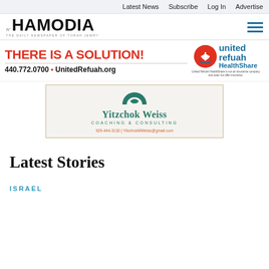Latest News  Subscribe  Log In  Advertise
HAMODIA — THE DAILY NEWSPAPER OF TORAH JEWRY
[Figure (infographic): United Refuah HealthShare advertisement: THERE IS A SOLUTION! 440.772.0700 • UnitedRefuah.org with United Refuah HealthShare logo]
[Figure (infographic): Yitzchok Weiss Coaching & Consulting advertisement with teal logo circle, name, and contact info: 929-444-3130 | YitzchokMWeiss@gmail.com]
Latest Stories
ISRAEL